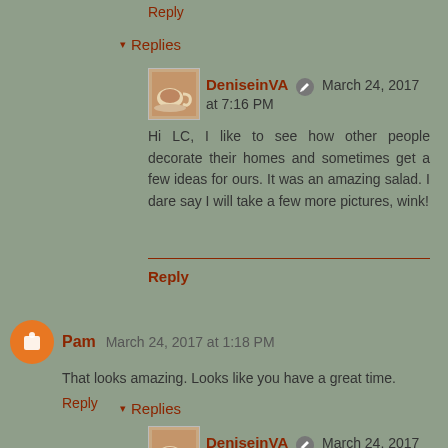Reply
Replies
DeniseinVA  March 24, 2017 at 7:16 PM
Hi LC, I like to see how other people decorate their homes and sometimes get a few ideas for ours. It was an amazing salad. I dare say I will take a few more pictures, wink!
Reply
Pam  March 24, 2017 at 1:18 PM
That looks amazing. Looks like you have a great time.
Reply
Replies
DeniseinVA  March 24, 2017 at 6:31 PM
Thank you Pam, I did.